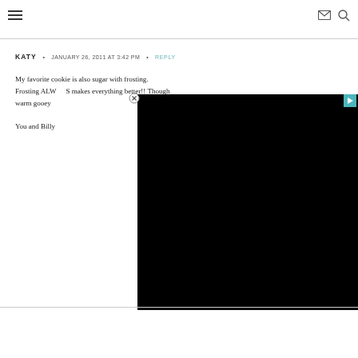☰  ✉  🔍
KATY  •  JANUARY 26, 2011 AT 3:42 PM  •  REPLY
My favorite cookie is also sugar with frosting. Frosting ALWAYS makes everything better!! Though warm gooey
You and Billy
[Figure (screenshot): Black video overlay rectangle with close button (circle X) and teal play button in top right corner]